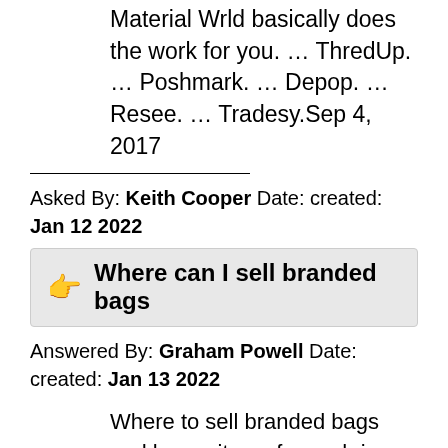Material Wrld basically does the work for you. … ThredUp. … Poshmark. … Depop. … Resee. … Tradesy.Sep 4, 2017
Asked By: Keith Cooper Date: created: Jan 12 2022
Where can I sell branded bags
Answered By: Graham Powell Date: created: Jan 13 2022
Where to sell branded bags and luxury items for cash in SingaporeCarousell | Online luxury retailers | Reebonz Singapore | Style Tribute Singapore | Vestiaire Collective Singapore | Madam Milan | Pawn Shops.Reebonz is one of the most well-known discounted luxury bag retailers in Singapore.More items…